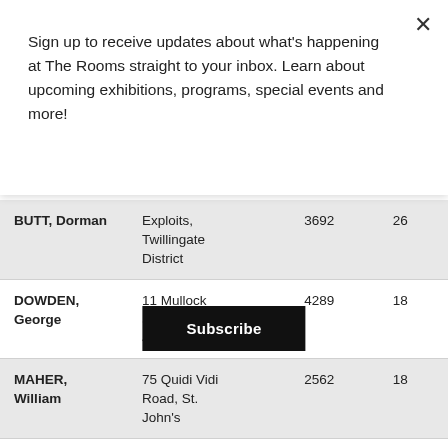Sign up to receive updates about what's happening at The Rooms straight to your inbox. Learn about upcoming exhibitions, programs, special events and more!
Subscribe
| Name | Address | Number | Value |
| --- | --- | --- | --- |
| BUTT, Dorman | Exploits, Twillingate District | 3692 | 26 |
| DOWDEN, George | 11 Mullock Street, St. John's | 4289 | 18 |
| MAHER, William | 75 Quidi Vidi Road, St. John's | 2562 | 18 |
| MOORE, | 76 Circular | 2998 | 18 |